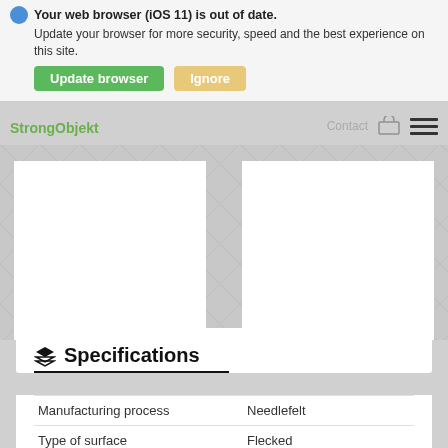Your web browser (iOS 11) is out of date. Update your browser for more security, speed and the best experience on this site.
Update browser
Ignore
StrongObjekt
Contact
024
050
Specifications
|  |  |
| --- | --- |
| Manufacturing process | Needlefelt |
| Type of surface | Flecked |
| Surface content | Coarse Fibre... |